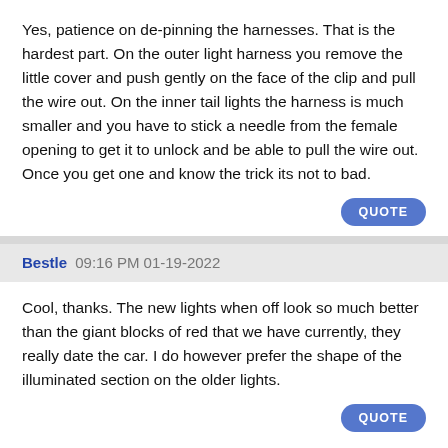Yes, patience on de-pinning the harnesses. That is the hardest part. On the outer light harness you remove the little cover and push gently on the face of the clip and pull the wire out. On the inner tail lights the harness is much smaller and you have to stick a needle from the female opening to get it to unlock and be able to pull the wire out. Once you get one and know the trick its not to bad.
QUOTE
Bestle 09:16 PM 01-19-2022
Cool, thanks. The new lights when off look so much better than the giant blocks of red that we have currently, they really date the car. I do however prefer the shape of the illuminated section on the older lights.
QUOTE